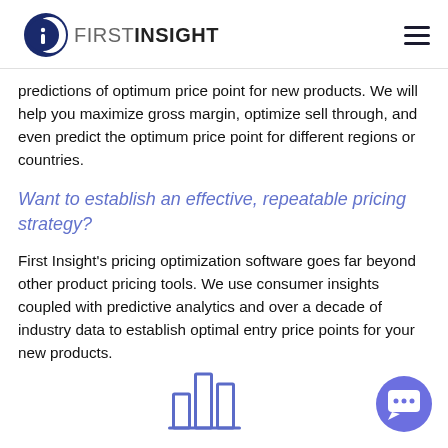FIRST INSIGHT
predictions of optimum price point for new products. We will help you maximize gross margin, optimize sell through, and even predict the optimum price point for different regions or countries.
Want to establish an effective, repeatable pricing strategy?
First Insight's pricing optimization software goes far beyond other product pricing tools. We use consumer insights coupled with predictive analytics and over a decade of industry data to establish optimal entry price points for your new products.
[Figure (illustration): Bar chart icon at the bottom center of the page, outlined in blue/purple style]
[Figure (illustration): Purple circular chat bubble button at the bottom right corner]